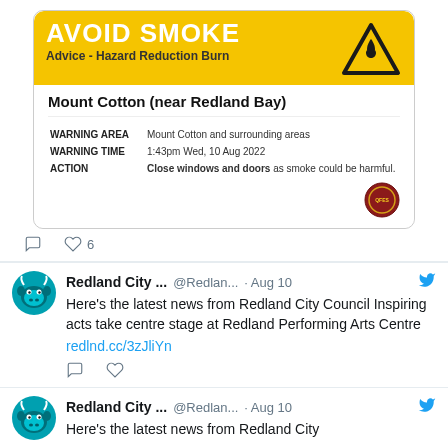[Figure (infographic): Yellow fire hazard reduction burn warning card titled AVOID SMOKE, for Mount Cotton (near Redland Bay), showing WARNING AREA: Mount Cotton and surrounding areas, WARNING TIME: 1:43pm Wed, 10 Aug 2022, ACTION: Close windows and doors as smoke could be harmful. Fire triangle warning symbol top right. QFES badge bottom right.]
6 (likes count)
Redland City ... @Redlan... · Aug 10
Here's the latest news from Redland City Council Inspiring acts take centre stage at Redland Performing Arts Centre redlnd.cc/3zJliYn
Redland City ... @Redlan... · Aug 10
Here's the latest news from Redland City